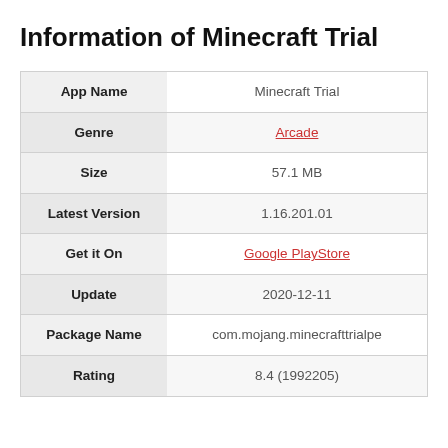Information of Minecraft Trial
|  |  |
| --- | --- |
| App Name | Minecraft Trial |
| Genre | Arcade |
| Size | 57.1 MB |
| Latest Version | 1.16.201.01 |
| Get it On | Google PlayStore |
| Update | 2020-12-11 |
| Package Name | com.mojang.minecrafttrialpe |
| Rating | 8.4 (1992205) |